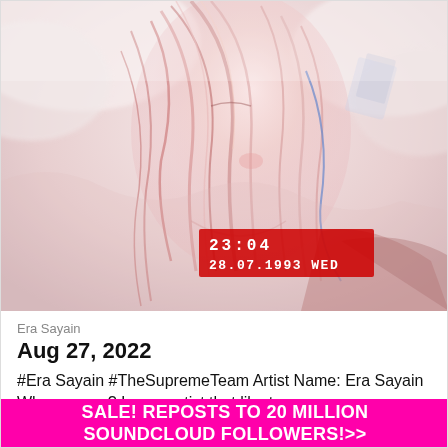[Figure (illustration): Artistic digital illustration of a woman's face and hair in soft pinks, reds, and whites with a VHS timestamp overlay reading '23:04 28.07.1993 WED']
Era Sayain
Aug 27, 2022
#Era Sayain #TheSupremeTeam Artist Name: Era Sayain Who are you? I am a artist that like to
SALE! REPOSTS TO 20 MILLION SOUNDCLOUD FOLLOWERS!>>